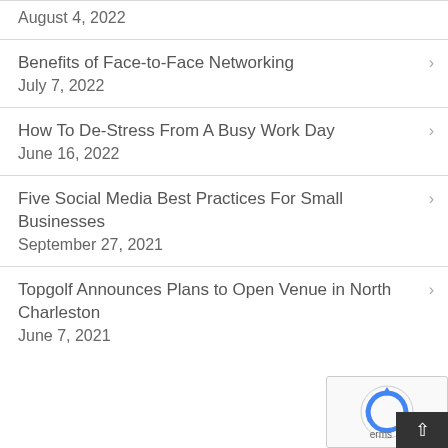August 4, 2022
Benefits of Face-to-Face Networking
July 7, 2022
How To De-Stress From A Busy Work Day
June 16, 2022
Five Social Media Best Practices For Small Businesses
September 27, 2021
Topgolf Announces Plans to Open Venue in North Charleston
June 7, 2021